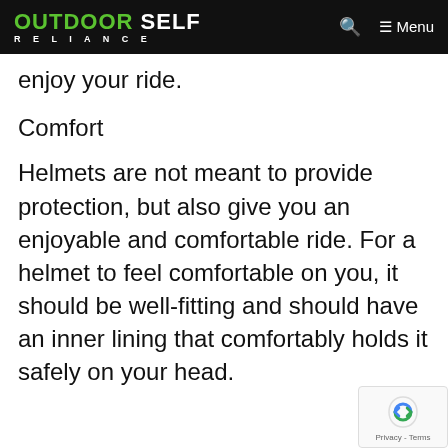OUTDOOR SELF RELIANCE — Menu
enjoy your ride.
Comfort
Helmets are not meant to provide protection, but also give you an enjoyable and comfortable ride. For a helmet to feel comfortable on you, it should be well-fitting and should have an inner lining that comfortably holds it safely on your head.